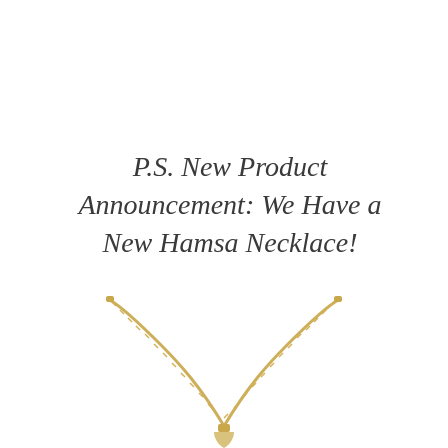P.S. New Product Announcement: We Have a New Hamsa Necklace!
[Figure (photo): A gold Hamsa necklace with a twisted/braided gold chain forming a V-shape, with the pendant (Hamsa hand) partially visible at the bottom center of the image.]